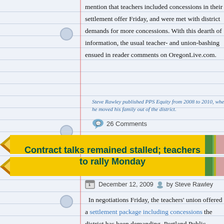mention that teachers included concessions in their settlement offer Friday, and were met with district demands for more concessions. With this dearth of information, the usual teacher- and union-bashing ensued in reader comments on OregonLive.com.
Steve Rawley published PPS Equity from 2008 to 2010, when he moved his family out of the district.
26 Comments
Contract talks remained stalled; teachers to rally Monday
December 12, 2009 by Steve Rawley
In negotiations Friday, the teachers' union offered a settlement package including concessions the district has been demanding. Portland Public Schools negotiators accepted the concessions, and demanded more.
Frustrated by this lack of progress, teachers will once again take to the streets and march on the school board Monday to press for a settlement. The rally begins at 6:15 p.m., Monday, December 15 14, at the Rose Quarter Parking lot on N. Broadway and Benton.
Steve Rawley published PPS Equity from 2008 to 2010, when he moved his family out of the district.
1 Comment